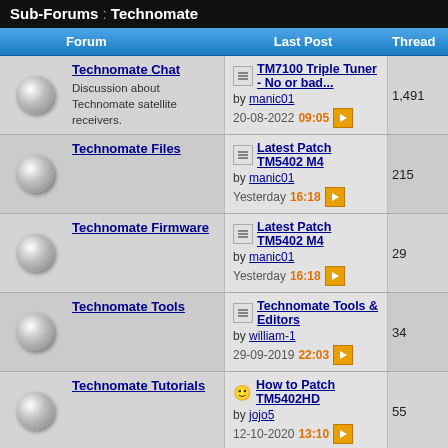Sub-Forums : Technomate
|  | Forum | Last Post | Threads |
| --- | --- | --- | --- |
|  | Technomate Chat
Discussion about Technomate satellite receivers. | TM7100 Triple Tuner - No or bad...
by manic01
20-08-2022 09:05 | 1,491 |
|  | Technomate Files | Latest Patch TM5402 M4
by manic01
Yesterday 16:18 | 215 |
|  | Technomate Firmware | Latest Patch TM5402 M4
by manic01
Yesterday 16:18 | 29 |
|  | Technomate Tools | Technomate Tools & Editors
by william-1
29-09-2019 22:03 | 34 |
|  | Technomate Tutorials | How to Patch TM5402HD
by jojo5
12-10-2020 13:10 | 55 |
|  | Technomate softcam and other key files | 5402 M4 CCcam?
by Galway
16-06-2022 21:28 | 14 |
|  | Technomate Channel Lists | TM6902HD T2 Ch List by William-1
by william-1
17-12-2021 18:31 | 46 |